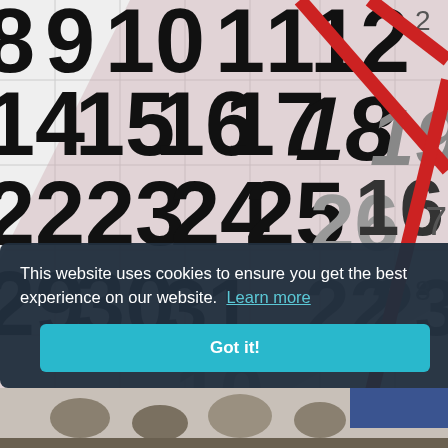[Figure (photo): Close-up photo of overlapping calendar pages showing dates including 8, 9, 10, 11, 12, 14, 15, 16, 17, 18, 19, 22, 23, 24, 25, 26, 29, 30, 31, 22, 23 with a red diagonal stripe across them. The calendar pages are white with large black numbers.]
This website uses cookies to ensure you get the best experience on our website. Learn more
Got it!
[Figure (photo): Partial view of people sitting around a table, visible at bottom of page.]